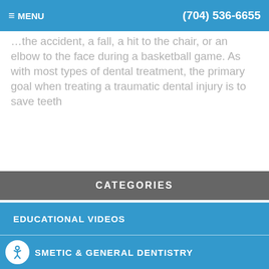MENU | (704) 536-6655
...to the face during a basketball game. As with most types of dental treatment, the primary goal when treating a traumatic dental injury is to save teeth
Read more
1 | Next > | Last >>
CATEGORIES
EDUCATIONAL VIDEOS
SMETIC & GENERAL DENTISTRY